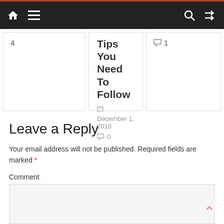Navigation bar with home, menu, search, and shuffle icons
4
Tips You Need To Follow
December 1, 2018  0
1
Leave a Reply
Your email address will not be published. Required fields are marked *
Comment